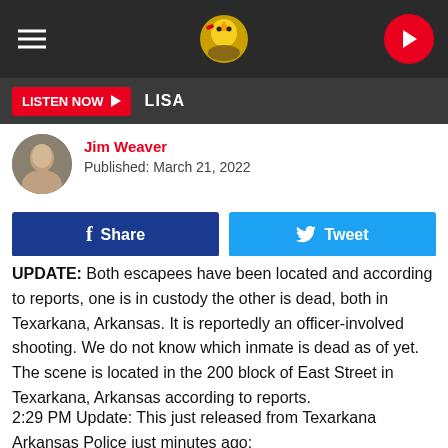LISTEN NOW ▶ LISA
Jim Weaver
Published: March 21, 2022
f Share   Tweet
UPDATE: Both escapees have been located and according to reports, one is in custody the other is dead, both in Texarkana, Arkansas. It is reportedly an officer-involved shooting. We do not know which inmate is dead as of yet. The scene is located in the 200 block of East Street in Texarkana, Arkansas according to reports.
2:29 PM Update: This just released from Texarkana Arkansas Police just minutes ago: